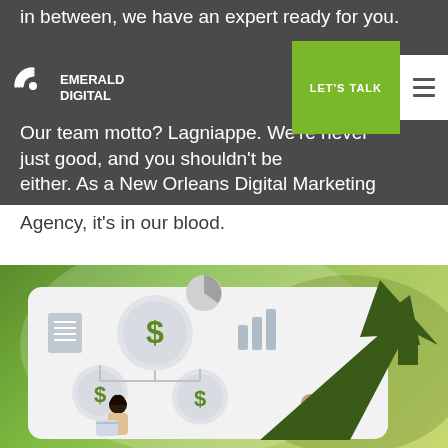in between, we have an expert ready for you.
Emerald Digital — LET'S TALK navigation bar
Our team motto? Lagniappe. We're never just good, and you shouldn't be either. As a New Orleans Digital Marketing Agency, it's in our blood.
[Figure (illustration): Marketing/finance illustration with dollar sign coins connected by lines, two people (woman with shopping basket and man in blue shirt), and a large dark green upward arrow on a green gradient background]